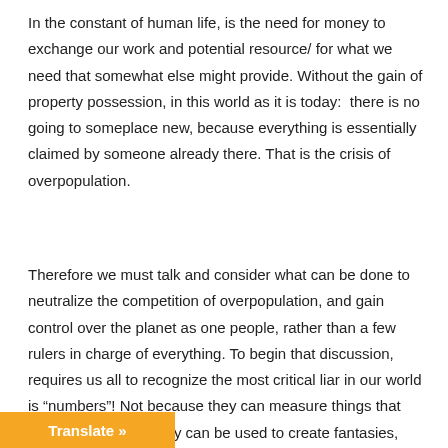In the constant of human life, is the need for money to exchange our work and potential resource/ for what we need that somewhat else might provide. Without the gain of property possession, in this world as it is today:  there is no going to someplace new, because everything is essentially claimed by someone already there. That is the crisis of overpopulation.
Therefore we must talk and consider what can be done to neutralize the competition of overpopulation, and gain control over the planet as one people, rather than a few rulers in charge of everything. To begin that discussion, requires us all to recognize the most critical liar in our world is “numbers”! Not because they can measure things that exist/ but because they can be used to create fantasies, which do not exist. Such as currency. The extreme … currency is one such example.